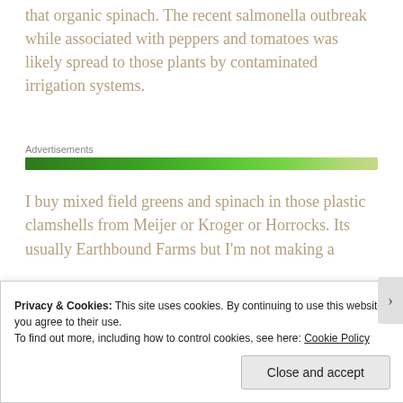that organic spinach. The recent salmonella outbreak while associated with peppers and tomatoes was likely spread to those plants by contaminated irrigation systems.
[Figure (other): Advertisements banner with a green gradient bar]
I buy mixed field greens and spinach in those plastic clamshells from Meijer or Kroger or Horrocks. Its usually Earthbound Farms but I'm not making a
Privacy & Cookies: This site uses cookies. By continuing to use this website, you agree to their use.
To find out more, including how to control cookies, see here: Cookie Policy